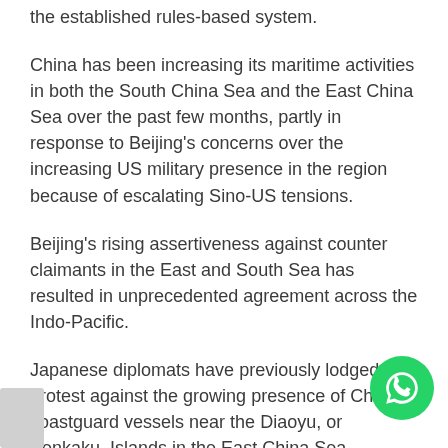the established rules-based system.
China has been increasing its maritime activities in both the South China Sea and the East China Sea over the past few months, partly in response to Beijing's concerns over the increasing US military presence in the region because of escalating Sino-US tensions.
Beijing's rising assertiveness against counter claimants in the East and South Sea has resulted in unprecedented agreement across the Indo-Pacific.
Japanese diplomats have previously lodged a protest against the growing presence of Chinese coastguard vessels near the Diaoyu, or Senkaku, Islands in the East China Sea.